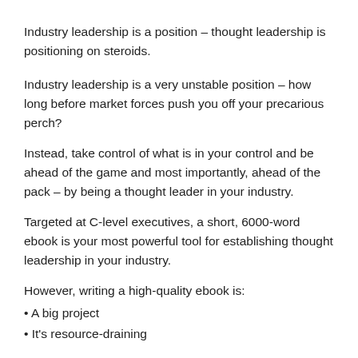Industry leadership is a position – thought leadership is positioning on steroids.
Industry leadership is a very unstable position – how long before market forces push you off your precarious perch?
Instead, take control of what is in your control and be ahead of the game and most importantly, ahead of the pack – by being a thought leader in your industry.
Targeted at C-level executives, a short, 6000-word ebook is your most powerful tool for establishing thought leadership in your industry.
However, writing a high-quality ebook is:
• A big project
• It's resource-draining